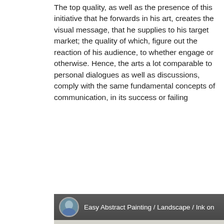The top quality, as well as the presence of this initiative that he forwards in his art, creates the visual message, that he supplies to his target market; the quality of which, figure out the reaction of his audience, to whether engage or otherwise. Hence, the arts a lot comparable to personal dialogues as well as discussions, comply with the same fundamental concepts of communication, in its success or failing
[Figure (screenshot): YouTube video embed showing 'Easy Abstract Painting / Landscape / Ink on...' with a red and yellow ink splash painting as thumbnail, red YouTube play button in center, and a scroll-up button in the bottom right corner.]